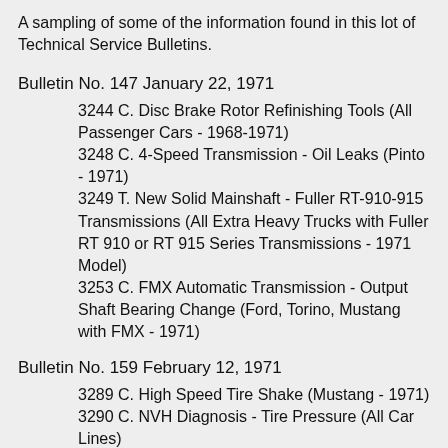A sampling of some of the information found in this lot of Technical Service Bulletins.
Bulletin No. 147 January 22, 1971
3244 C. Disc Brake Rotor Refinishing Tools (All Passenger Cars - 1968-1971)
3248 C. 4-Speed Transmission - Oil Leaks (Pinto - 1971)
3249 T. New Solid Mainshaft - Fuller RT-910-915 Transmissions (All Extra Heavy Trucks with Fuller RT 910 or RT 915 Series Transmissions - 1971 Model)
3253 C. FMX Automatic Transmission - Output Shaft Bearing Change (Ford, Torino, Mustang with FMX - 1971)
Bulletin No. 159 February 12, 1971
3289 C. High Speed Tire Shake (Mustang - 1971)
3290 C. NVH Diagnosis - Tire Pressure (All Car Lines)
3292 T. Dana 44 Front Driving Axles - Bronco -